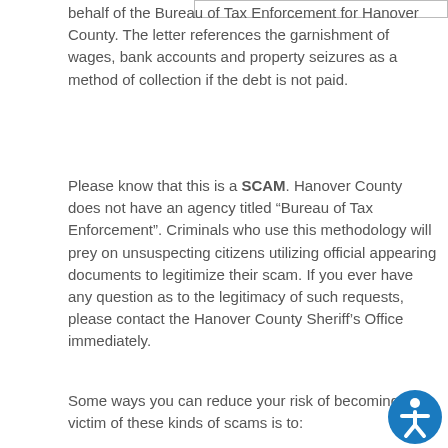behalf of the Bureau of Tax Enforcement for Hanover County. The letter references the garnishment of wages, bank accounts and property seizures as a method of collection if the debt is not paid.
Please know that this is a SCAM. Hanover County does not have an agency titled “Bureau of Tax Enforcement”. Criminals who use this methodology will prey on unsuspecting citizens utilizing official appearing documents to legitimize their scam. If you ever have any question as to the legitimacy of such requests, please contact the Hanover County Sheriff’s Office immediately.
Some ways you can reduce your risk of becoming a victim of these kinds of scams is to: